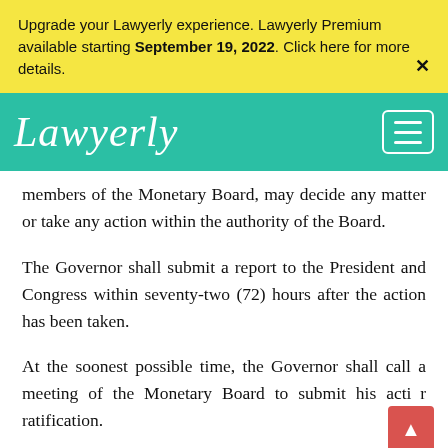Upgrade your Lawyerly experience. Lawyerly Premium available starting September 19, 2022. Click here for more details.
Lawyerly
members of the Monetary Board, may decide any matter or take any action within the authority of the Board.
The Governor shall submit a report to the President and Congress within seventy-two (72) hours after the action has been taken.
At the soonest possible time, the Governor shall call a meeting of the Monetary Board to submit his action for ratification.